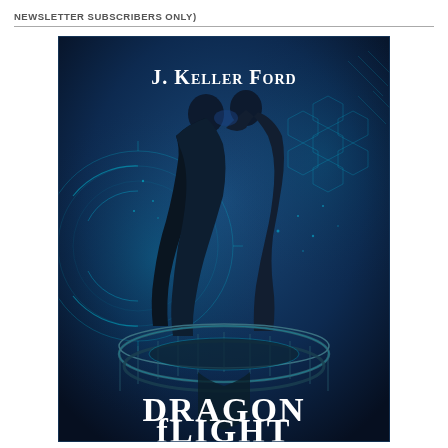NEWSLETTER SUBSCRIBERS ONLY)
[Figure (illustration): Book cover for 'Dragon Flight' by J. Keller Ford. Dark blue digital/sci-fi themed cover with two silhouetted figures nearly kissing in center, surrounded by glowing cyan circuit/hexagon patterns and a circular staircase or dragon coil at the bottom. Author name 'J. KELLER FORD' in white serif text at top, title 'DRAGON fLIGHT' in large white serif text at bottom.]